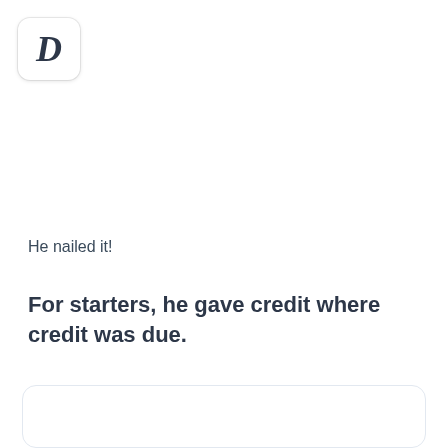[Figure (logo): Italic bold letter D in a rounded white box with subtle shadow]
He nailed it!
For starters, he gave credit where credit was due.